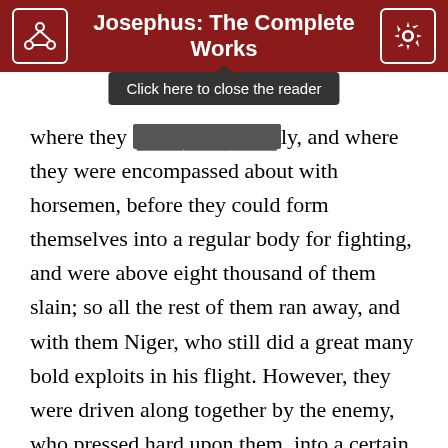Josephus: The Complete Works
where they are surrounded suddenly, and where they were encompassed about with horsemen, before they could form themselves into a regular body for fighting, and were above eight thousand of them slain; so all the rest of them ran away, and with them Niger, who still did a great many bold exploits in his flight. However, they were driven along together by the enemy, who pressed hard upon them, into a certain strong tower belonging to a village called Bezedeh. However, Antonius and his party, that they might neither spend any considerable time about this tower, which was hard to be taken, nor suffer their commander, and the